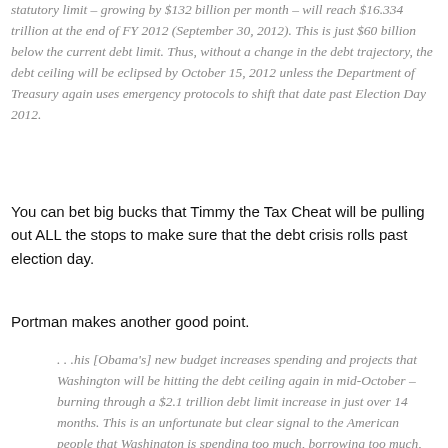statutory limit – growing by $132 billion per month – will reach $16.334 trillion at the end of FY 2012 (September 30, 2012). This is just $60 billion below the current debt limit. Thus, without a change in the debt trajectory, the debt ceiling will be eclipsed by October 15, 2012 unless the Department of Treasury again uses emergency protocols to shift that date past Election Day 2012.
You can bet big bucks that Timmy the Tax Cheat will be pulling out ALL the stops to make sure that the debt crisis rolls past election day.
Portman makes another good point.
. . .his [Obama's] new budget increases spending and projects that Washington will be hitting the debt ceiling again in mid-October – burning through a $2.1 trillion debt limit increase in just over 14 months. This is an unfortunate but clear signal to the American people that Washington is spending too much, borrowing too much, and